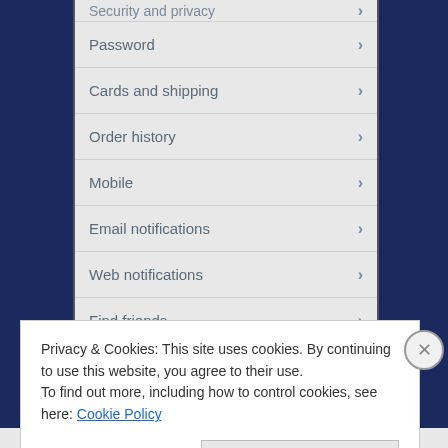[Figure (screenshot): Mobile app settings menu showing list items: Security and privacy (partial, top), Password, Cards and shipping, Order history, Mobile, Email notifications, Web notifications, Find friends, Muted accounts, Blocked accounts, Design — each with a right-pointing chevron arrow, on a light gray background, framed by dark navy blue side panels.]
Privacy & Cookies: This site uses cookies. By continuing to use this website, you agree to their use.
To find out more, including how to control cookies, see here: Cookie Policy
Close and accept